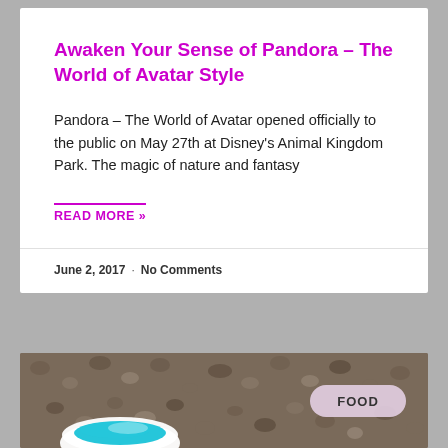Awaken Your Sense of Pandora – The World of Avatar Style
Pandora – The World of Avatar opened officially to the public on May 27th at Disney's Animal Kingdom Park. The magic of nature and fantasy
READ MORE »
June 2, 2017  ·  No Comments
[Figure (photo): Photo showing a bowl with blue colored food/dessert on a pebble/gravel background, with a FOOD badge overlay in the top right area]